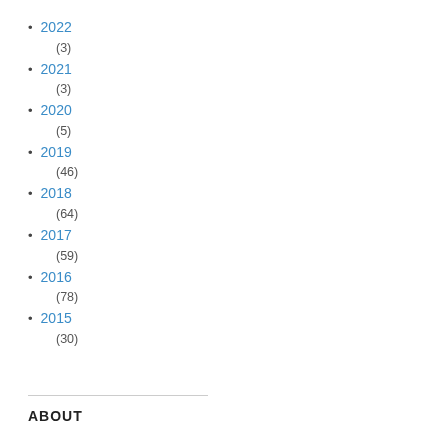2022 (3)
2021 (3)
2020 (5)
2019 (46)
2018 (64)
2017 (59)
2016 (78)
2015 (30)
ABOUT